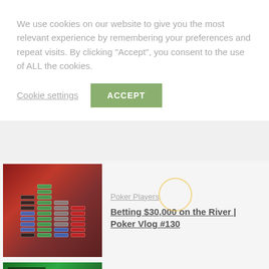We use cookies on our website to give you the most relevant experience by remembering your preferences and repeat visits. By clicking “Accept”, you consent to the use of ALL the cookies.
Cookie settings
ACCEPT
[Figure (photo): Stacks of poker chips on a red background]
Poker Players
Betting $30,000 on the River | Poker Vlog #130
[Figure (photo): Person with glasses in front of a green poker game screen showing $51,049.5]
Computer Poker
MIRACLE Poker Comeback To Win $50,000?!